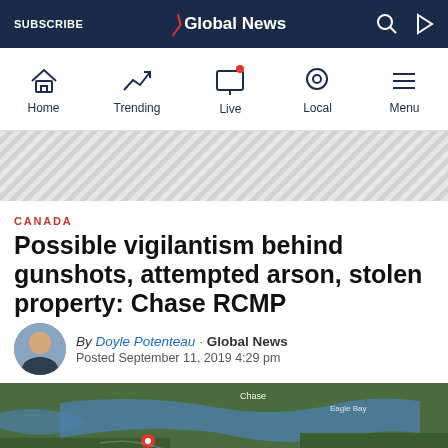SUBSCRIBE | Global News
[Figure (infographic): Navigation icons: Home, Trending, Live, Local, Menu]
[Figure (infographic): Advertisement banner with diagonal stripe pattern]
CANADA
Possible vigilantism behind gunshots, attempted arson, stolen property: Chase RCMP
By Doyle Potenteau · Global News
Posted September 11, 2019 4:29 pm
[Figure (map): Satellite map showing Chase, BC area with red location pin]